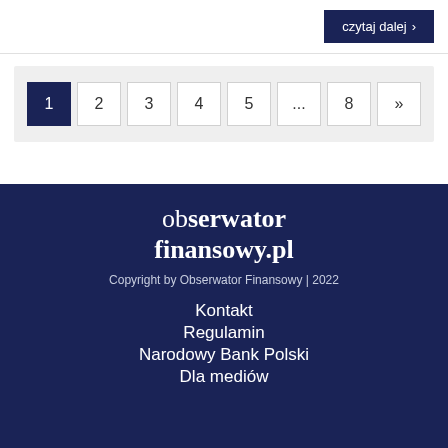czytaj dalej »
1 2 3 4 5 ... 8 »
[Figure (logo): Obserwator Finansowy logo text: 'obserwator finansowy.pl']
Copyright by Obserwator Finansowy | 2022
Kontakt
Regulamin
Narodowy Bank Polski
Dla mediów